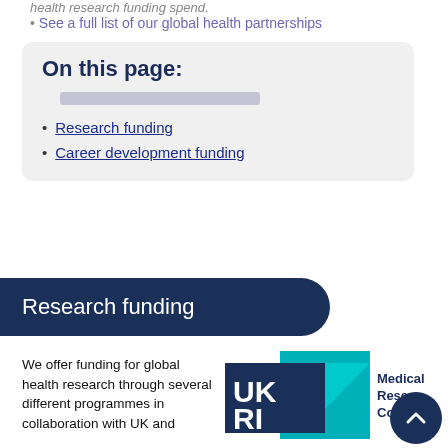health research funding spend.
See a full list of our global health partnerships
On this page:
Research funding
Career development funding
Research funding
We offer funding for global health research through several different programmes in collaboration with UK and
[Figure (logo): UKRI (UK Research and Innovation) logo alongside Medical Research Council logo]